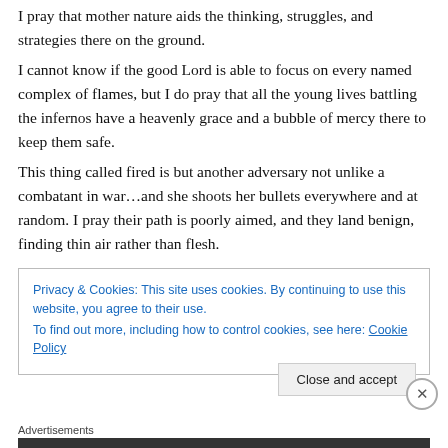I pray that mother nature aids the thinking, struggles, and strategies there on the ground.
I cannot know if the good Lord is able to focus on every named complex of flames, but I do pray that all the young lives battling the infernos have a heavenly grace and a bubble of mercy there to keep them safe.
This thing called fired is but another adversary not unlike a combatant in war…and she shoots her bullets everywhere and at random. I pray their path is poorly aimed, and they land benign, finding thin air rather than flesh.
I cannot know that cooler air does much to disarm the
Privacy & Cookies: This site uses cookies. By continuing to use this website, you agree to their use.
To find out more, including how to control cookies, see here: Cookie Policy
Close and accept
Advertisements